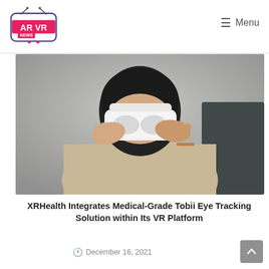AR VR NEWS — Menu
[Figure (photo): Person wearing a white VR headset, putting it on their face, wearing a beige sweater, photographed against a light grey background.]
XRHealth Integrates Medical-Grade Tobii Eye Tracking Solution within Its VR Platform
December 16, 2021